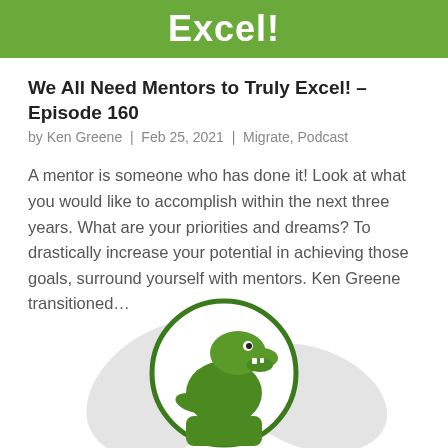Excel!
We All Need Mentors to Truly Excel! – Episode 160
by Ken Greene  |  Feb 25, 2021  |  Migrate, Podcast
A mentor is someone who has done it! Look at what you would like to accomplish within the next three years. What are your priorities and dreams? To drastically increase your potential in achieving those goals, surround yourself with mentors. Ken Greene transitioned...
[Figure (illustration): Cartoon dinosaur (T-Rex) mascot in a circular logo, green colored, sitting at a desk or table. Background shows light grey wing/lightning bolt shapes.]